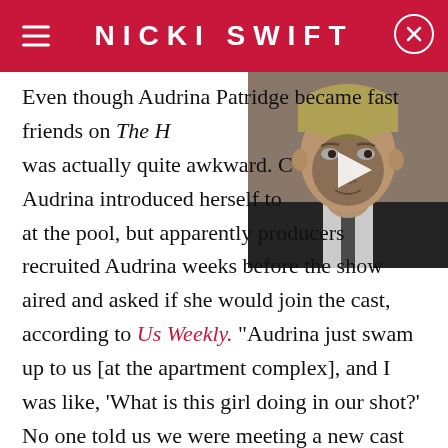NICKI SWIFT
[Figure (photo): Video thumbnail showing a middle-aged man in a suit with a play button overlay]
Even though Audrina Patridge became fast friends on The H... was actually quite awkward. C... Audrina introduced herself to at the pool, but apparently producers recruited Audrina weeks before the show aired and asked if she would join the cast, according to Us Weekly. "Audrina just swam up to us [at the apartment complex], and I was like, 'What is this girl doing in our shot?' No one told us we were meeting a new cast member," Heidi recalled to Us Weekly in 2016.